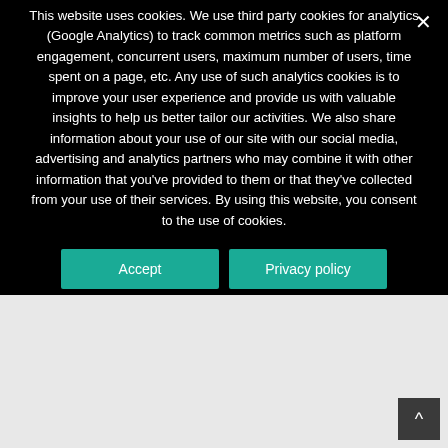This website uses cookies. We use third party cookies for analytics (Google Analytics) to track common metrics such as platform engagement, concurrent users, maximum number of users, time spent on a page, etc. Any use of such analytics cookies is to improve your user experience and provide us with valuable insights to help us better tailor our activities. We also share information about your use of our site with our social media, advertising and analytics partners who may combine it with other information that you've provided to them or that they've collected from your use of their services. By using this website, you consent to the use of cookies.
Accept
Privacy policy